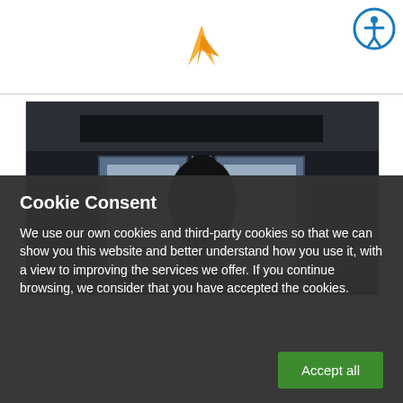[Figure (logo): Orange logo partially visible at top center]
[Figure (photo): Dark silhouette of a person standing in front of glass doors/windows in a dark corridor]
Cookie Consent
We use our own cookies and third-party cookies so that we can show you this website and better understand how you use it, with a view to improving the services we offer. If you continue browsing, we consider that you have accepted the cookies.
Accept all